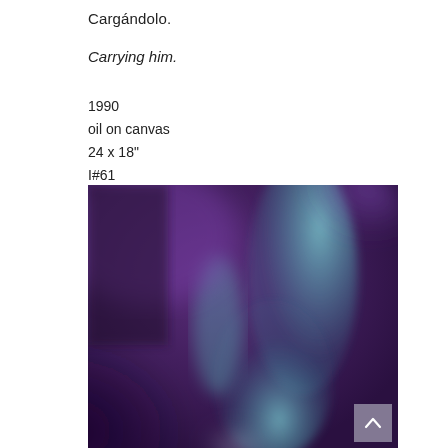Cargándolo.
Carrying him.
1990
oil on canvas
24 x 18"
I#61
[Figure (photo): A blurry, abstract oil painting with deep purple and teal/cyan tones. The image shows soft, swirling forms suggesting a figure being carried, painted in loose gestural strokes.]